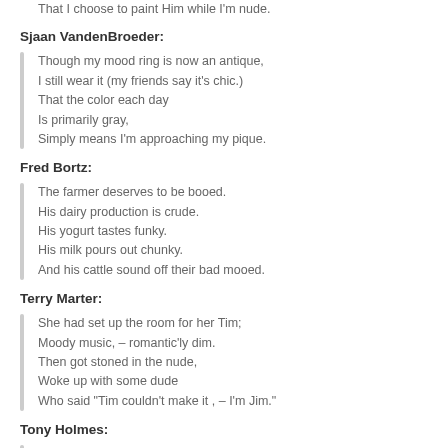That I choose to paint Him while I'm nude.
Sjaan VandenBroeder:
Though my mood ring is now an antique,
I still wear it (my friends say it's chic.)
That the color each day
Is primarily gray,
Simply means I'm approaching my pique.
Fred Bortz:
The farmer deserves to be booed.
His dairy production is crude.
His yogurt tastes funky.
His milk pours out chunky.
And his cattle sound off their bad mooed.
Terry Marter:
She had set up the room for her Tim;
Moody music, – romantic'ly dim.
Then got stoned in the nude,
Woke up with some dude
Who said "Tim couldn't make it , – I'm Jim."
Tony Holmes:
I've been tossed on the scrapheap of life,